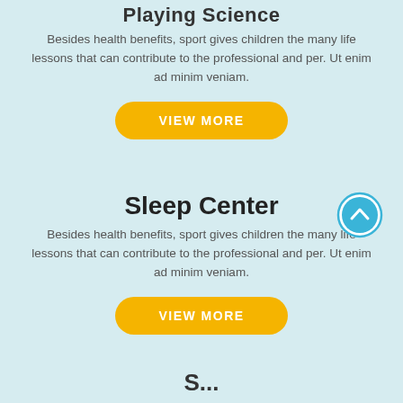Playing Science
Besides health benefits, sport gives children the many life lessons that can contribute to the professional and per. Ut enim ad minim veniam.
[Figure (other): Yellow rounded rectangle button with white text 'VIEW MORE']
Sleep Center
[Figure (other): Blue circle button with white chevron/up arrow icon]
Besides health benefits, sport gives children the many life lessons that can contribute to the professional and per. Ut enim ad minim veniam.
[Figure (other): Yellow rounded rectangle button with white text 'VIEW MORE']
S...